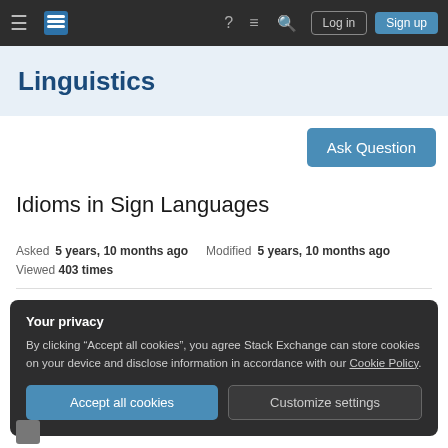≡ [Stack Exchange Logo] ? ≡ 🔍 Log in Sign up
Linguistics
Ask Question
Idioms in Sign Languages
Asked 5 years, 10 months ago   Modified 5 years, 10 months ago   Viewed 403 times
Your privacy
By clicking "Accept all cookies", you agree Stack Exchange can store cookies on your device and disclose information in accordance with our Cookie Policy.
Accept all cookies   Customize settings